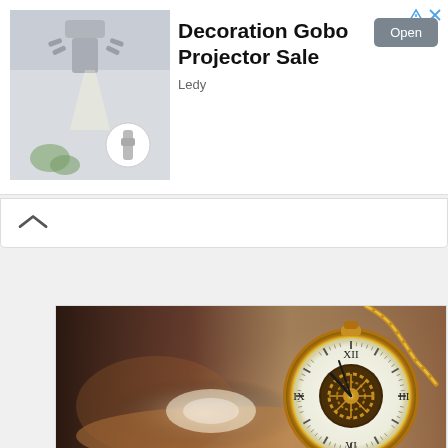[Figure (screenshot): Advertisement banner showing a decoration gobo projector product image on the left, with text 'Decoration Gobo Projector Sale' by Ledy and an Open button on the right. Small ad icons (triangle and X) in the top right corner.]
[Figure (photo): Close-up photograph of a gold skeleton pocket watch held in a hand, showing the intricate mechanical gears through the open face, with Roman numerals on the white dial. The watch is attached to a gold chain. Background is blurred brown/grey tones.]